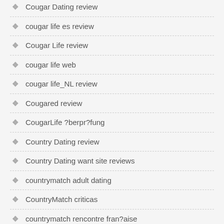Cougar Dating review
cougar life es review
Cougar Life review
cougar life web
cougar life_NL review
Cougared review
CougarLife ?berpr?fung
Country Dating review
Country Dating want site reviews
countrymatch adult dating
CountryMatch criticas
countrymatch rencontre fran?aise